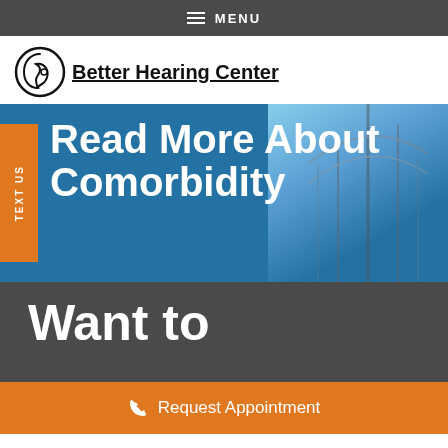MENU
[Figure (logo): Better Hearing Center logo with stylized ear graphic and bold underlined text]
Read More About Comorbidity
TEXT US
Want to
Request Appointment